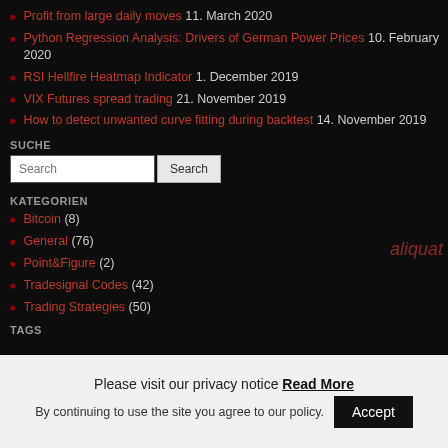Profit from large daily moves 11. March 2020
Python Regression Analysis: Drivers of German Power Prices 10. February 2020
RSI Hellfire Heatmap Indicator 1. December 2019
VIX Futures spread trading 21. November 2019
How to detect unwanted curve fitting during backtest 14. November 2019
SUCHE
KATEGORIEN
Bitcoin (8)
General (76)
Point&Figure (2)
Tradesignal Codes (42)
Trading Strategies (50)
TAGS
Please visit our privacy notice Read More
By continuing to use the site you agree to our policy. Accept